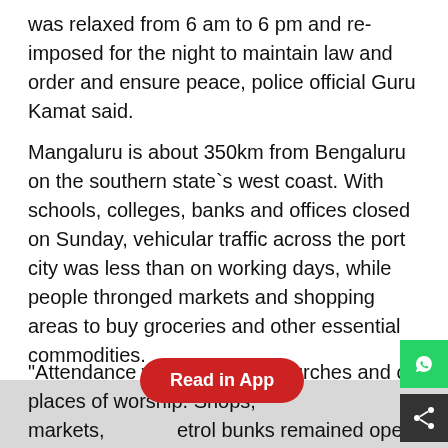was relaxed from 6 am to 6 pm and re-imposed for the night to maintain law and order and ensure peace, police official Guru Kamat said.
Mangaluru is about 350km from Bengaluru on the southern state`s west coast. With schools, colleges, banks and offices closed on Sunday, vehicular traffic across the port city was less than on working days, while people thronged markets and shopping areas to buy groceries and other essential commodities.
"Attendance was normal in churches and other places of worship. Shops, markets, petrol bunks remained opened through the day," said Kamat. As Section 144 under the CrPC remained in force, people were not allowed to assemble in public places or hold pro or anti-CAA rallies or sit-in demonstration by protesters.